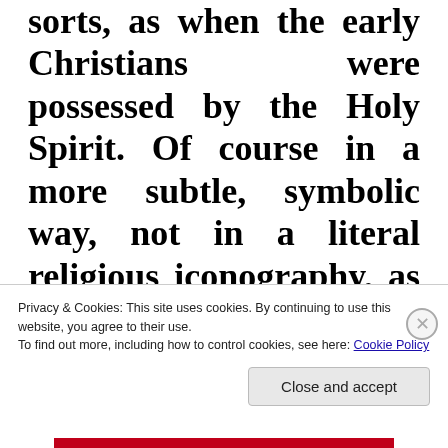sorts, as when the early Christians were possessed by the Holy Spirit. Of course in a more subtle, symbolic way, not in a literal religious iconography, as some of the images here may misguide you.
Privacy & Cookies: This site uses cookies. By continuing to use this website, you agree to their use. To find out more, including how to control cookies, see here: Cookie Policy
Close and accept